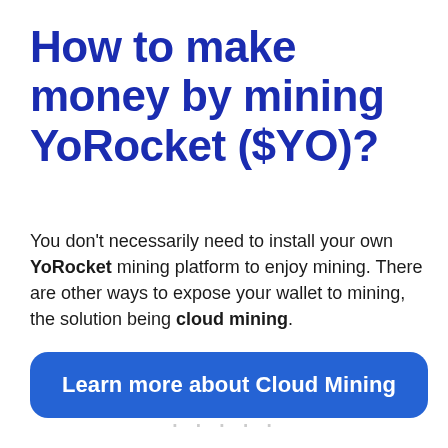How to make money by mining YoRocket ($YO)?
You don't necessarily need to install your own YoRocket mining platform to enjoy mining. There are other ways to expose your wallet to mining, the solution being cloud mining.
Learn more about Cloud Mining